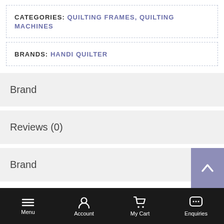CATEGORIES: QUILTING FRAMES, QUILTING MACHINES
BRANDS: HANDI QUILTER
Brand
Reviews (0)
Brand
Handi Quilter
Menu  Account  My Cart  Enquiries